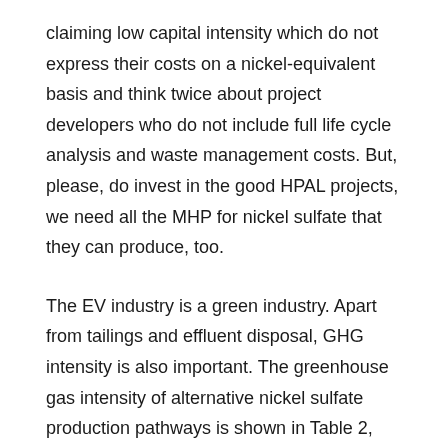claiming low capital intensity which do not express their costs on a nickel-equivalent basis and think twice about project developers who do not include full life cycle analysis and waste management costs. But, please, do invest in the good HPAL projects, we need all the MHP for nickel sulfate that they can produce, too.
The EV industry is a green industry. Apart from tailings and effluent disposal, GHG intensity is also important. The greenhouse gas intensity of alternative nickel sulfate production pathways is shown in Table 2, including the Queensland Pacific Metals Townsville Energy Chemicals Hub (QPM TECH) project which is the least GHG-intensive process.